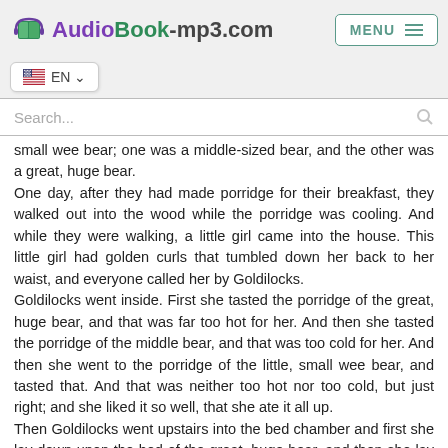AudioBook-mp3.com — MENU
small wee bear; one was a middle-sized bear, and the other was a great, huge bear. One day, after they had made porridge for their breakfast, they walked out into the wood while the porridge was cooling. And while they were walking, a little girl came into the house. This little girl had golden curls that tumbled down her back to her waist, and everyone called her by Goldilocks. Goldilocks went inside. First she tasted the porridge of the great, huge bear, and that was far too hot for her. And then she tasted the porridge of the middle bear, and that was too cold for her. And then she went to the porridge of the little, small wee bear, and tasted that. And that was neither too hot nor too cold, but just right; and she liked it so well, that she ate it all up. Then Goldilocks went upstairs into the bed chamber and first she lay down upon the bed of the great, huge bear, and then she lay down upon the bed of the middle bear and finally she lay down upon the bed of the little, small wee bear, and that was just right. So she covered herself up comfortably, and lay there until she fell fast asleep.